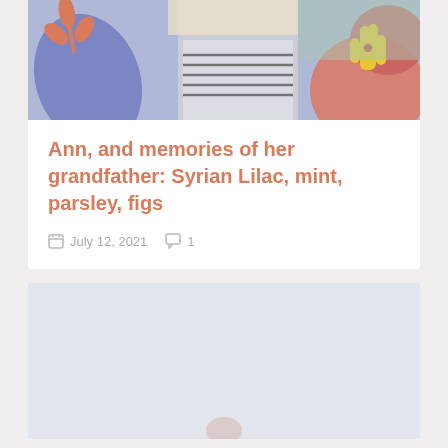[Figure (photo): Colorful illustrated banner image with floral motifs in purple, orange, red, and a hand silhouette in yellow; a person in a striped shirt visible in the center.]
Ann, and memories of her grandfather: Syrian Lilac, mint, parsley, figs
July 12, 2021   1
[Figure (photo): Light gray/blue placeholder image card, partially visible at the bottom of the page.]